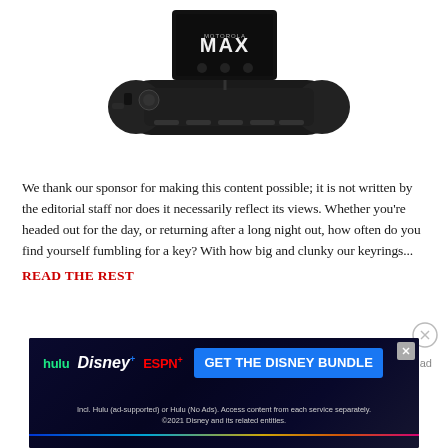[Figure (photo): Product photo of a dark-colored electronic device labeled MAX, shown from the top and side angles against a white background]
We thank our sponsor for making this content possible; it is not written by the editorial staff nor does it necessarily reflect its views. Whether you're headed out for the day, or returning after a long night out, how often do you find yourself fumbling for a key? With how big and clunky our keyrings...
READ THE REST
[Figure (screenshot): Disney Bundle advertisement banner with hulu, Disney+, ESPN+ logos and GET THE DISNEY BUNDLE call-to-action button. Fine print: Incl. Hulu (ad-supported) or Hulu (No Ads). Access content from each service separately. ©2021 Disney and its related entities.]